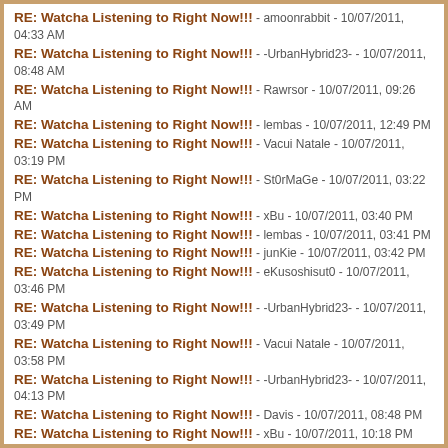RE: Watcha Listening to Right Now!!! - amoonrabbit - 10/07/2011, 04:33 AM
RE: Watcha Listening to Right Now!!! - -UrbanHybrid23- - 10/07/2011, 08:48 AM
RE: Watcha Listening to Right Now!!! - Rawrsor - 10/07/2011, 09:26 AM
RE: Watcha Listening to Right Now!!! - lembas - 10/07/2011, 12:49 PM
RE: Watcha Listening to Right Now!!! - Vacui Natale - 10/07/2011, 03:19 PM
RE: Watcha Listening to Right Now!!! - St0rMaGe - 10/07/2011, 03:22 PM
RE: Watcha Listening to Right Now!!! - xBu - 10/07/2011, 03:40 PM
RE: Watcha Listening to Right Now!!! - lembas - 10/07/2011, 03:41 PM
RE: Watcha Listening to Right Now!!! - junKie - 10/07/2011, 03:42 PM
RE: Watcha Listening to Right Now!!! - eKusoshisut0 - 10/07/2011, 03:46 PM
RE: Watcha Listening to Right Now!!! - -UrbanHybrid23- - 10/07/2011, 03:49 PM
RE: Watcha Listening to Right Now!!! - Vacui Natale - 10/07/2011, 03:58 PM
RE: Watcha Listening to Right Now!!! - -UrbanHybrid23- - 10/07/2011, 04:13 PM
RE: Watcha Listening to Right Now!!! - Davis - 10/07/2011, 08:48 PM
RE: Watcha Listening to Right Now!!! - xBu - 10/07/2011, 10:18 PM
RE: Watcha Listening to Right Now!!! - RawJun - 10/07/2011, 11:06